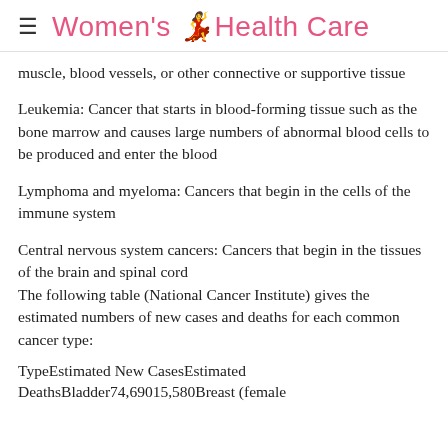Women's Health Care
muscle, blood vessels, or other connective or supportive tissue
Leukemia: Cancer that starts in blood-forming tissue such as the bone marrow and causes large numbers of abnormal blood cells to be produced and enter the blood
Lymphoma and myeloma: Cancers that begin in the cells of the immune system
Central nervous system cancers: Cancers that begin in the tissues of the brain and spinal cord
The following table (National Cancer Institute) gives the estimated numbers of new cases and deaths for each common cancer type:
TypeEstimated New CasesEstimated DeathsBladder74,69015,580Breast (female